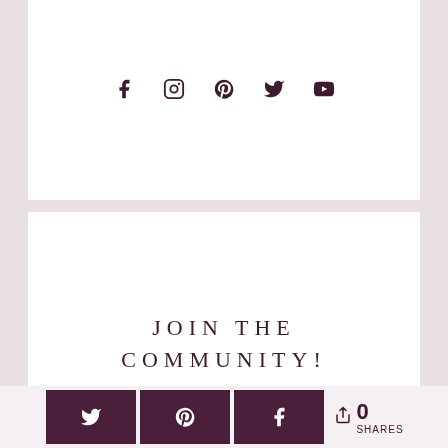[Figure (infographic): Social media icons row: Facebook, Instagram, Pinterest, Twitter, YouTube in dark maroon on white background]
JOIN THE COMMUNITY!
Sign up to receive inspirational content to help you grow your business.
[Figure (infographic): First name input field (form element)]
0 SHARES — share buttons: Twitter, Pinterest, Facebook